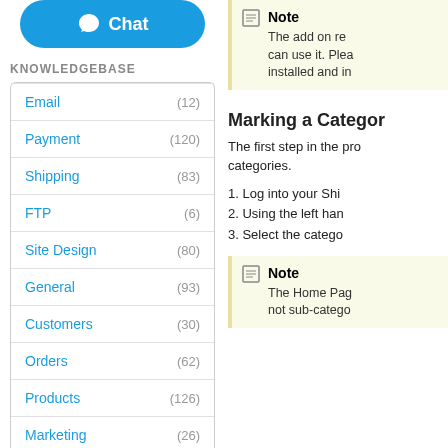[Figure (other): Blue Chat button with speech bubble icon]
KNOWLEDGEBASE
Email (12)
Payment (120)
Shipping (83)
FTP (6)
Site Design (80)
General (93)
Customers (30)
Orders (62)
Products (126)
Marketing (26)
The add on re can use it. Plea installed and in
Marking a Categor
The first step in the pro categories.
1. Log into your Shi
2. Using the left han
3. Select the catego
The Home Pag not sub-catego